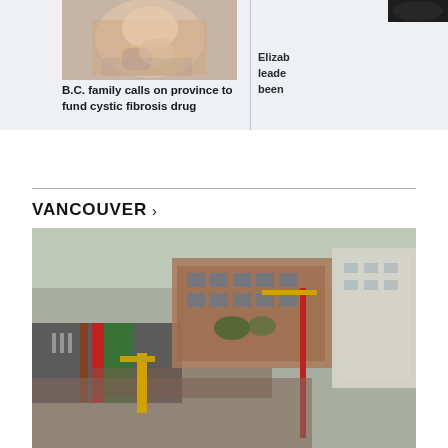[Figure (photo): Child holding a stuffed animal, cropped photo for article about cystic fibrosis]
B.C. family calls on province to fund cystic fibrosis drug
[Figure (photo): Partial dark photo, top right, for Elizabeth/leader article]
Elizab
leade
been
VANCOUVER >
[Figure (photo): Aerial photo of Vancouver construction site with cranes and city buildings along a street]